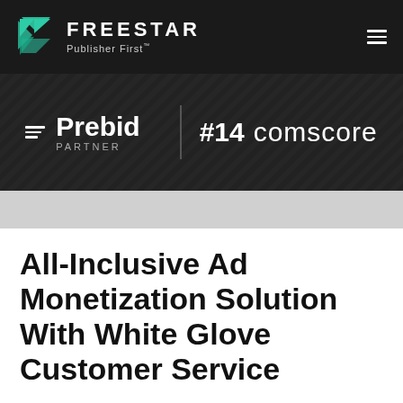[Figure (logo): Freestar logo with teal geometric arrow icon and text 'FREESTAR Publisher First™' on dark background navigation bar]
[Figure (infographic): Dark banner showing Prebid Partner badge and #14 Comscore ranking on textured dark background]
All-Inclusive Ad Monetization Solution With White Glove Customer Service